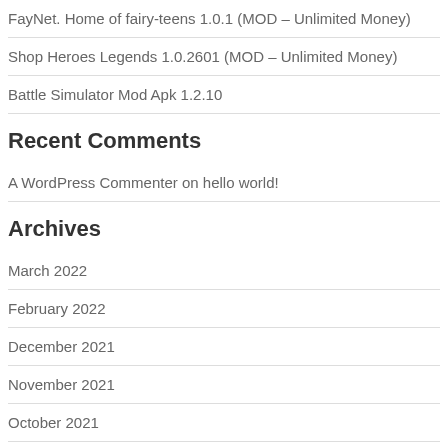FayNet. Home of fairy-teens 1.0.1 (MOD – Unlimited Money)
Shop Heroes Legends 1.0.2601 (MOD – Unlimited Money)
Battle Simulator Mod Apk 1.2.10
Recent Comments
A WordPress Commenter on hello world!
Archives
March 2022
February 2022
December 2021
November 2021
October 2021
August 2021